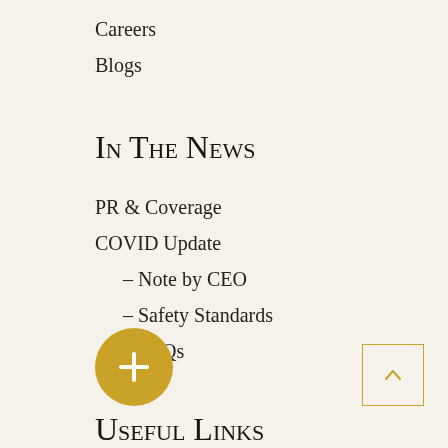Careers
Blogs
In The News
PR & Coverage
COVID Update
– Note by CEO
– Safety Standards
– FAQs
Useful Links
Just Book Direct
[Figure (other): Gold circular plus button UI element]
[Figure (other): Gold bordered up-arrow navigation button]